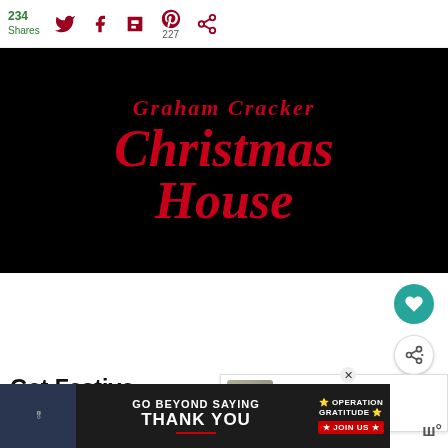234 Shares | Twitter | Facebook | Flipboard | Pinterest 227 | Other
[Figure (illustration): Black background movie-style title card with red italic bold text reading 'Graham Cracker Christmas House']
Get Festive looking candy!
[Figure (infographic): What's Next panel showing a thumbnail and text 'Edible Sugar Cone...']
[Figure (infographic): Advertisement banner: GO BEYOND SAYING THANK YOU - Operation Gratitude JOIN US]